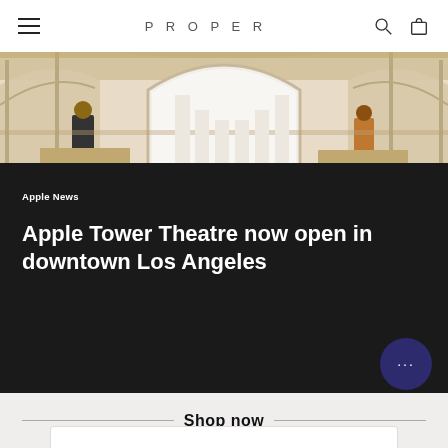PROPER
[Figure (photo): Interior of ornate historic theatre/building showing grand arched ceilings with decorative plasterwork, tall arched windows, and two staff members at counters on either side of a large white arched panel.]
Apple News
Apple Tower Theatre now open in downtown Los Angeles
Shop now